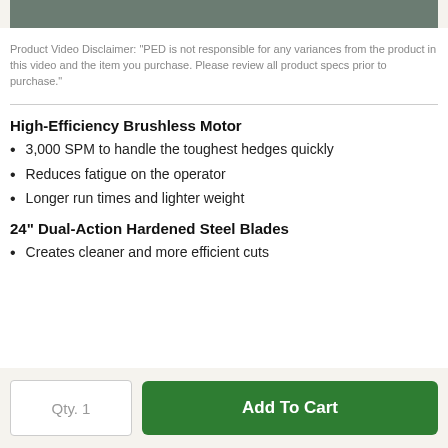[Figure (screenshot): Top portion of a product video thumbnail, showing a dark/grey video frame cropped at the top of the page.]
Product Video Disclaimer: "PED is not responsible for any variances from the product in this video and the item you purchase. Please review all product specs prior to purchase."
High-Efficiency Brushless Motor
3,000 SPM to handle the toughest hedges quickly
Reduces fatigue on the operator
Longer run times and lighter weight
24" Dual-Action Hardened Steel Blades
Creates cleaner and more efficient cuts